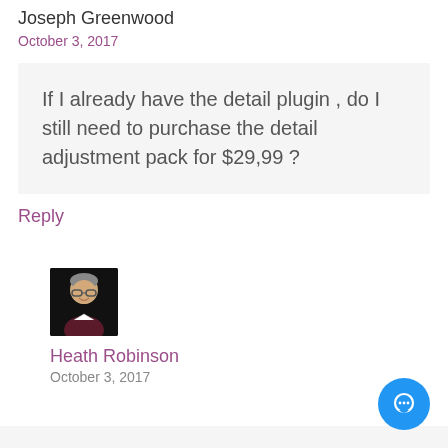Joseph Greenwood
October 3, 2017
If I already have the detail plugin , do I still need to purchase the detail adjustment pack for $29,99 ?
Reply
[Figure (photo): Profile photo of a man with glasses wearing a dark shirt, smiling, against a dark background]
Heath Robinson
October 3, 2017